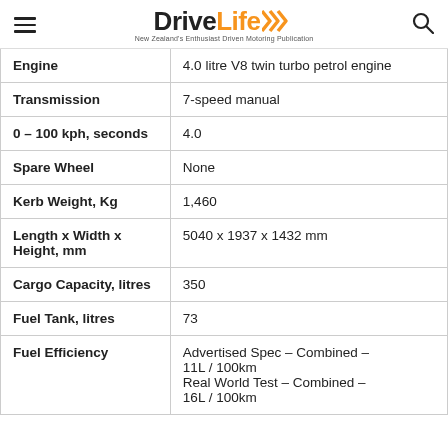DriveLife — New Zealand's Enthusiast Driven Motoring Publication
| Specification | Value |
| --- | --- |
| Engine | 4.0 litre V8 twin turbo petrol engine |
| Transmission | 7-speed manual |
| 0 – 100 kph, seconds | 4.0 |
| Spare Wheel | None |
| Kerb Weight, Kg | 1,460 |
| Length x Width x Height, mm | 5040 x 1937 x 1432 mm |
| Cargo Capacity, litres | 350 |
| Fuel Tank, litres | 73 |
| Fuel Efficiency | Advertised Spec – Combined – 11L / 100km
Real World Test – Combined – 16L / 100km |